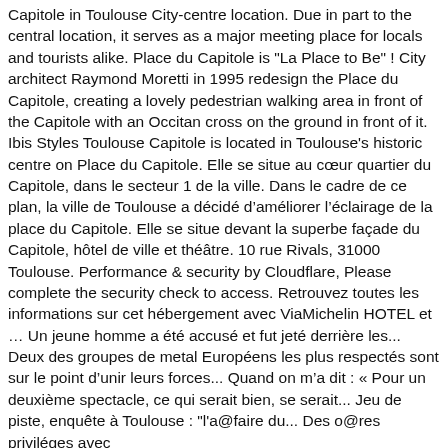Capitole in Toulouse City-centre location. Due in part to the central location, it serves as a major meeting place for locals and tourists alike. Place du Capitole is "La Place to Be" ! City architect Raymond Moretti in 1995 redesign the Place du Capitole, creating a lovely pedestrian walking area in front of the Capitole with an Occitan cross on the ground in front of it. Ibis Styles Toulouse Capitole is located in Toulouse's historic centre on Place du Capitole. Elle se situe au cœur quartier du Capitole, dans le secteur 1 de la ville. Dans le cadre de ce plan, la ville de Toulouse a décidé d'améliorer l'éclairage de la place du Capitole. Elle se situe devant la superbe façade du Capitole, hôtel de ville et théâtre. 10 rue Rivals, 31000 Toulouse. Performance & security by Cloudflare, Please complete the security check to access. Retrouvez toutes les informations sur cet hébergement avec ViaMichelin HOTEL et … Un jeune homme a été accusé et fut jeté derrière les... Deux des groupes de metal Européens les plus respectés sont sur le point d'unir leurs forces... Quand on m'a dit : « Pour un deuxième spectacle, ce qui serait bien, se serait... Jeu de piste, enquête à Toulouse : "l'affaire du... Des offres privilèges avec le...